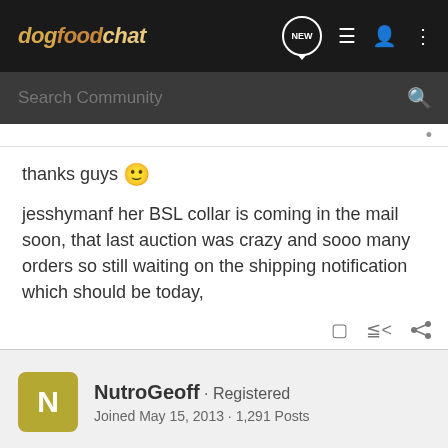dogfoodchat — navigation header with search bar
thanks guys 🙂
jesshymanf her BSL collar is coming in the mail soon, that last auction was crazy and sooo many orders so still waiting on the shipping notification which should be today,
NutroGeoff · Registered
Joined May 15, 2013 · 1,291 Posts
#25 · May 28, 2014